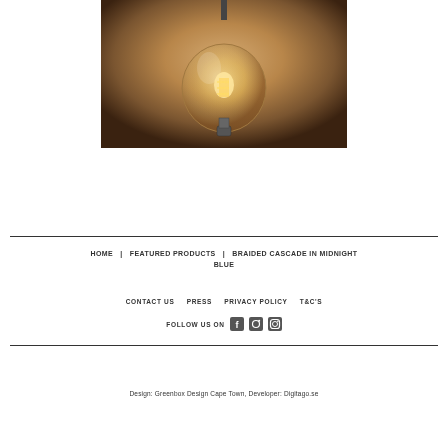[Figure (photo): Close-up photograph of a vintage Edison-style filament light bulb hanging against a warm beige/tan background with soft glowing light]
HOME | FEATURED PRODUCTS | BRAIDED CASCADE IN MIDNIGHT BLUE
CONTACT US   PRESS   PRIVACY POLICY   T&C'S
FOLLOW US ON
Design: Greenbox Design Cape Town, Developer: Digitago.se